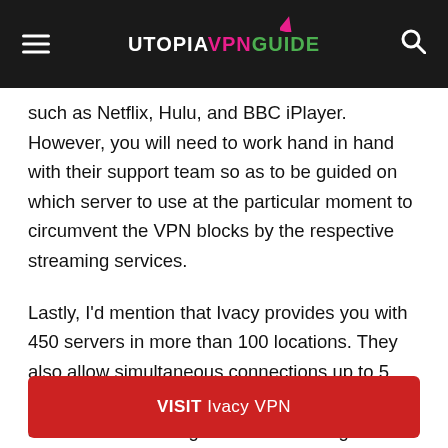UTOPIAVPNGUIDE
such as Netflix, Hulu, and BBC iPlayer. However, you will need to work hand in hand with their support team so as to be guided on which server to use at the particular moment to circumvent the VPN blocks by the respective streaming services.
Lastly, I’d mention that Ivacy provides you with 450 servers in more than 100 locations. They also allow simultaneous connections up to 5 devices. On the downside, Ivacy restricts its services to some regions which is a big setback for them.
VISIT Ivacy VPN